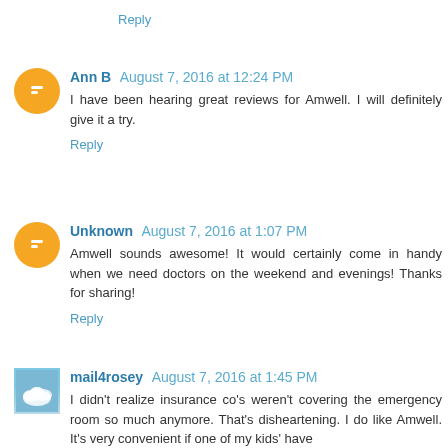Reply
Ann B  August 7, 2016 at 12:24 PM
I have been hearing great reviews for Amwell. I will definitely give it a try.
Reply
Unknown  August 7, 2016 at 1:07 PM
Amwell sounds awesome! It would certainly come in handy when we need doctors on the weekend and evenings! Thanks for sharing!
Reply
mail4rosey  August 7, 2016 at 1:45 PM
I didn't realize insurance co's weren't covering the emergency room so much anymore. That's disheartening. I do like Amwell. It's very convenient if one of my kids' have